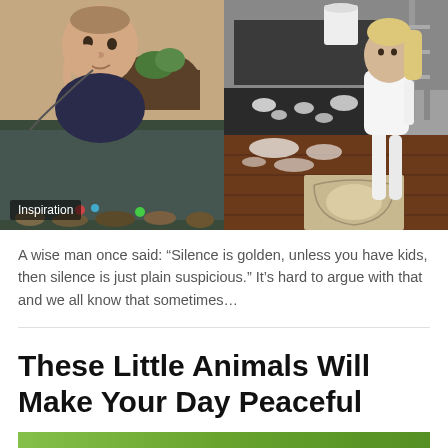[Figure (photo): Two photos side by side: left shows a baby/toddler chewing on something near an aquarium fish tank; right shows a young child standing near a mess on a wooden floor with water and broken items scattered around. 'Inspiration' badge overlays the bottom-left of the left photo.]
A wise man once said: “Silence is golden, unless you have kids, then silence is just plain suspicious.” It’s hard to argue with that and we all know that sometimes…
These Little Animals Will Make Your Day Peaceful
[Figure (photo): Bottom edge of a green-toned image, partially visible at the bottom of the page.]